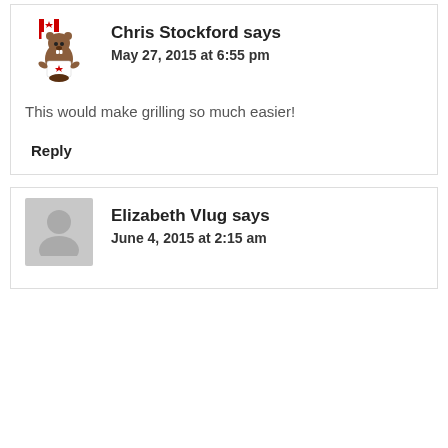Chris Stockford says
May 27, 2015 at 6:55 pm
This would make grilling so much easier!
Reply
Elizabeth Vlug says
June 4, 2015 at 2:15 am